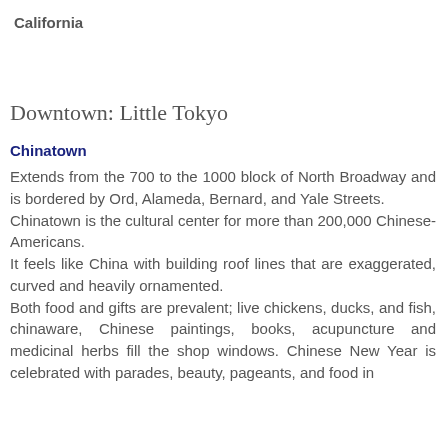California
Downtown: Little Tokyo
Chinatown
Extends from the 700 to the 1000 block of North Broadway and is bordered by Ord, Alameda, Bernard, and Yale Streets. Chinatown is the cultural center for more than 200,000 Chinese-Americans. It feels like China with building roof lines that are exaggerated, curved and heavily ornamented. Both food and gifts are prevalent; live chickens, ducks, and fish, chinaware, Chinese paintings, books, acupuncture and medicinal herbs fill the shop windows. Chinese New Year is celebrated with parades, beauty, pageants, and food in